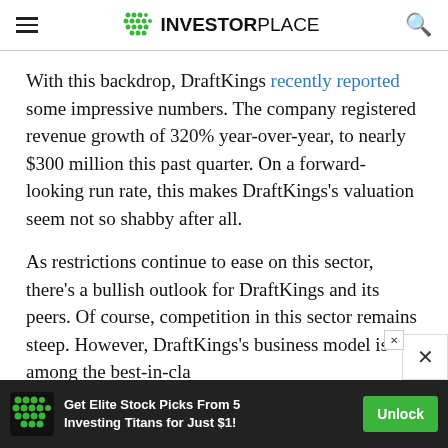INVESTORPLACE
With this backdrop, DraftKings recently reported some impressive numbers. The company registered revenue growth of 320% year-over-year, to nearly $300 million this past quarter. On a forward-looking run rate, this makes DraftKings’s valuation seem not so shabby after all.
As restrictions continue to ease on this sector, there’s a bullish outlook for DraftKings and its peers. Of course, competition in this sector remains steep. However, DraftKings’s business model is among the best-in-cla
[Figure (other): Advertisement banner: Get Elite Stock Picks From 5 Investing Titans for Just $1! with Unlock button]